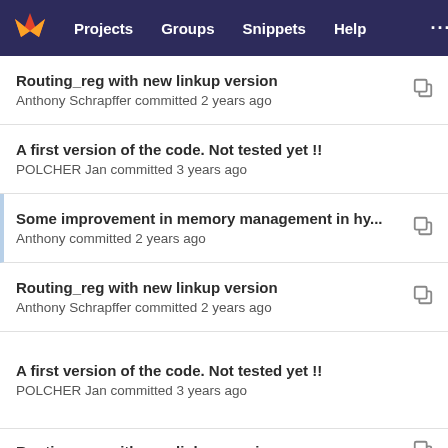[Figure (screenshot): GitLab navigation bar with logo, Projects, Groups, Snippets, Help links]
Routing_reg with new linkup version
Anthony Schrapffer committed 2 years ago
A first version of the code. Not tested yet !!
POLCHER Jan committed 3 years ago
Some improvement in memory management in hy...
Anthony committed 2 years ago
Routing_reg with new linkup version
Anthony Schrapffer committed 2 years ago
A first version of the code. Not tested yet !!
POLCHER Jan committed 3 years ago
Routing_reg with new linkup version